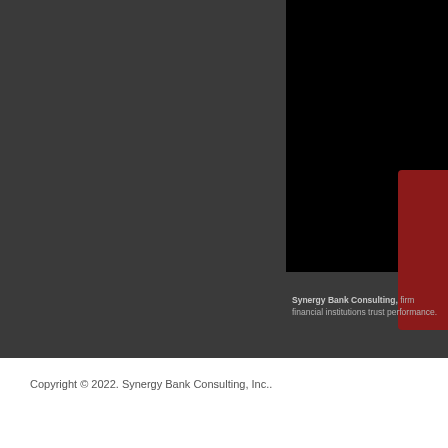[Figure (photo): Dark gray and black background with a red accent shape on the right side, appearing to be a cover or title page image for Synergy Bank Consulting]
Synergy Bank Consulting, firm financial institutions trust performance.
Copyright © 2022. Synergy Bank Consulting, Inc..